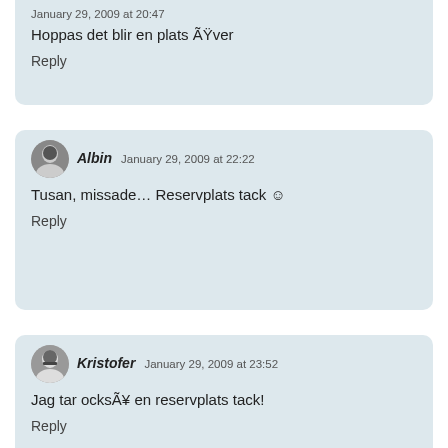January 29, 2009 at 20:47
Hoppas det blir en plats Över
Reply
Albin  January 29, 2009 at 22:22
Tusan, missade… Reservplats tack ☺
Reply
Kristofer  January 29, 2009 at 23:52
Jag tar också en reservplats tack!
Reply